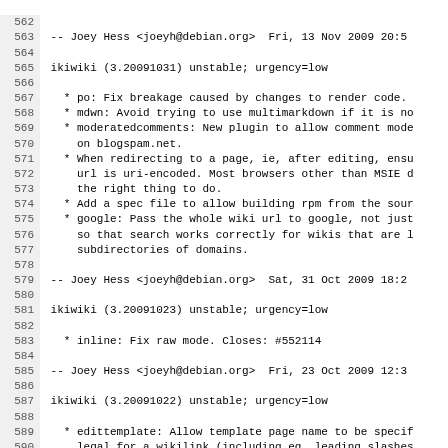562
563  -- Joey Hess <joeyh@debian.org>  Fri, 13 Nov 2009 20:5
564
565  ikiwiki (3.20091031) unstable; urgency=low
566
567   * po: Fix breakage caused by changes to render code.
568   * mdwn: Avoid trying to use multimarkdown if it is no
569   * moderatedcomments: New plugin to allow comment mode
570     on blogspam.net.
571   * When redirecting to a page, ie, after editing, ensu
572     url is uri-encoded. Most browsers other than MSIE d
573     the right thing to do.
574   * Add a spec file to allow building rpm from the sour
575   * google: Pass the whole wiki url to google, not just
576     so that search works correctly for wikis that are l
577     subdirectories of domains.
578
579  -- Joey Hess <joeyh@debian.org>  Sat, 31 Oct 2009 18:2
580
581  ikiwiki (3.20091023) unstable; urgency=low
582
583   * inline: Fix raw mode. Closes: #552114
584
585  -- Joey Hess <joeyh@debian.org>  Fri, 23 Oct 2009 12:3
586
587  ikiwiki (3.20091022) unstable; urgency=low
588
589   * edittemplate: Allow template page name to be specif
590     legal for a wikilink (including eg, leading slashes
591   * edittemplate: Work around bug #551499 in CGI::FormB
592   * Fix a bug introduced in the last version that cause
593     to skip all files if a sourcedir of "./" was specif
594   * Support CFLAGS when building wrapper.